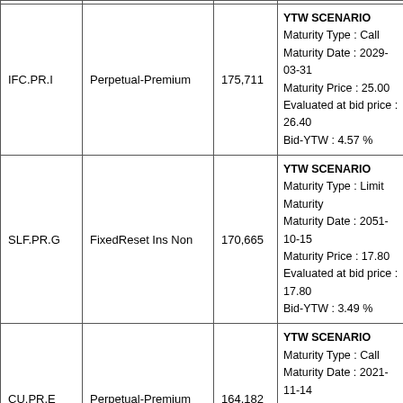| Ticker | Type | Volume | YTW Scenario |
| --- | --- | --- | --- |
| IFC.PR.I | Perpetual-Premium | 175,711 | YTW SCENARIO
Maturity Type : Call
Maturity Date : 2029-03-31
Maturity Price : 25.00
Evaluated at bid price : 26.40
Bid-YTW : 4.57 % |
| SLF.PR.G | FixedReset Ins Non | 170,665 | YTW SCENARIO
Maturity Type : Limit Maturity
Maturity Date : 2051-10-15
Maturity Price : 17.80
Evaluated at bid price : 17.80
Bid-YTW : 3.49 % |
| CU.PR.E | Perpetual-Premium | 164,182 | YTW SCENARIO
Maturity Type : Call
Maturity Date : 2021-11-14
Maturity Price : 25.00
Evaluated at bid price : 25.20
Bid-YTW : 2.34 % |
| PWF.PR.H | Perpetual-Premium | 163,384 | YTW SCENARIO
Maturity Type : Call
Maturity Date : 2021-11-14
Maturity Price : 25.00
Evaluated at bid price : 25.40
Bid-YTW : -15.97 % |
|  |  |  | YTW SCENARIO |